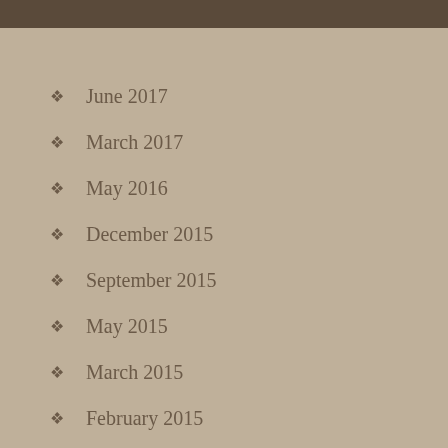June 2017
March 2017
May 2016
December 2015
September 2015
May 2015
March 2015
February 2015
January 2015
December 2014
November 2014